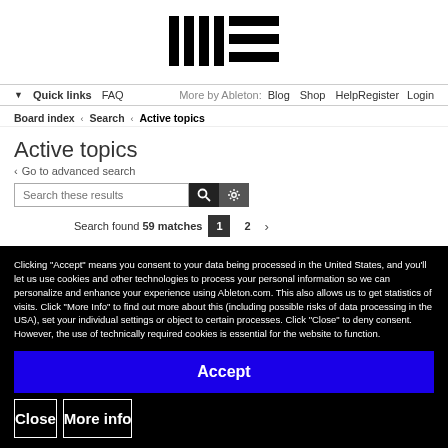[Figure (logo): Ableton logo: vertical bars followed by horizontal lines]
Quick links  FAQ  More by Ableton:  Blog  Shop  Help  Register  Login
Board index < Search < Active topics
Active topics
< Go to advanced search
Search these results [search button] [gear button]
Search found 59 matches  1  2  >
Clicking "Accept" means you consent to your data being processed in the United States, and you'll let us use cookies and other technologies to process your personal information so we can personalize and enhance your experience using Ableton.com. This also allows us to get statistics of visits. Click "More Info" to find out more about this (including possible risks of data processing in the USA), set your individual settings or object to certain processes. Click "Close" to deny consent. However, the use of technically required cookies is essential for the website to function.
Accept
Close
More info